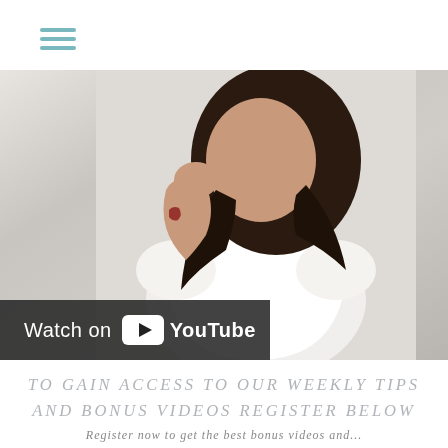[Figure (screenshot): Hamburger menu icon with three horizontal teal/blue-grey lines in the top left corner of the page]
[Figure (photo): A person wearing a white sleeveless top with dark hair, hand raised near face, with a YouTube 'Watch on YouTube' overlay bar at the bottom left of the video thumbnail]
TO GAIN ACCESS TO OUR WEEKLY TIPS AND BONUS VIDEOS REGISTER BELOW
Register now to get the best bonus videos and...